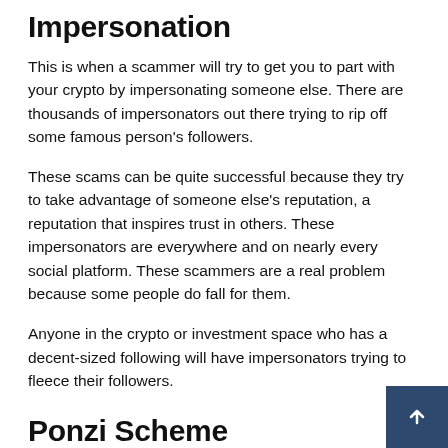Impersonation
This is when a scammer will try to get you to part with your crypto by impersonating someone else. There are thousands of impersonators out there trying to rip off some famous person's followers.
These scams can be quite successful because they try to take advantage of someone else's reputation, a reputation that inspires trust in others. These impersonators are everywhere and on nearly every social platform. These scammers are a real problem because some people do fall for them.
Anyone in the crypto or investment space who has a decent-sized following will have impersonators trying to fleece their followers.
Ponzi Scheme